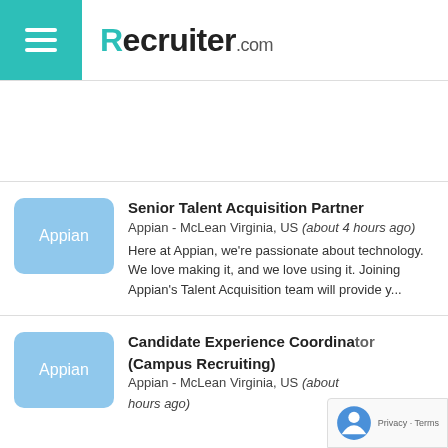Recruiter.com
[Figure (other): Advertisement banner area (blank)]
Senior Talent Acquisition Partner
Appian - McLean Virginia, US (about 4 hours ago)
Here at Appian, we're passionate about technology. We love making it, and we love using it. Joining Appian's Talent Acquisition team will provide y...
Candidate Experience Coordinator (Campus Recruiting)
Appian - McLean Virginia, US (about hours ago)